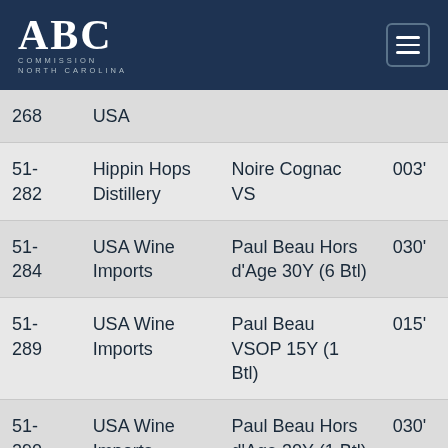ABC Commission North Carolina
| ID | Distillery/Importer | Product | Code |
| --- | --- | --- | --- |
| 268 | USA |  |  |
| 51-282 | Hippin Hops Distillery | Noire Cognac VS | 003' |
| 51-284 | USA Wine Imports | Paul Beau Hors d'Age 30Y (6 Btl) | 030' |
| 51-289 | USA Wine Imports | Paul Beau VSOP 15Y (1 Btl) | 015' |
| 51-290 | USA Wine Imports | Paul Beau Hors d'Age 30Y (1 Btl) | 030' |
| 51- | Remy | Remy Martin Louis |  |